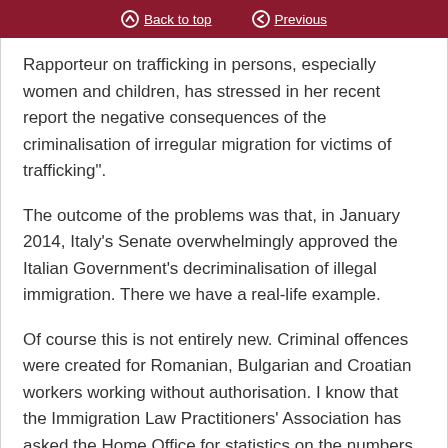Back to top | Previous
Rapporteur on trafficking in persons, especially women and children, has stressed in her recent report the negative consequences of the criminalisation of irregular migration for victims of trafficking”.
The outcome of the problems was that, in January 2014, Italy’s Senate overwhelmingly approved the Italian Government’s decriminalisation of illegal immigration. There we have a real-life example.
Of course this is not entirely new. Criminal offences were created for Romanian, Bulgarian and Croatian workers working without authorisation. I know that the Immigration Law Practitioners’ Association has asked the Home Office for statistics on the numbers